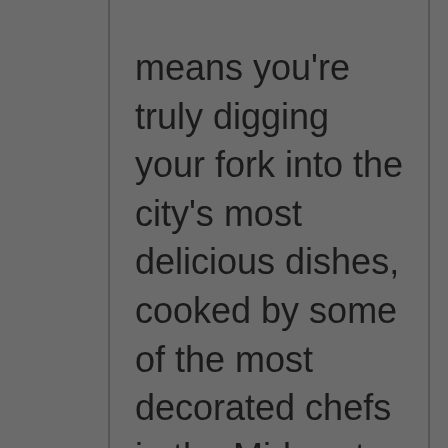means you're truly digging your fork into the city's most delicious dishes, cooked by some of the most decorated chefs in the Midwest.

Upon arrival guests will get a brief introduction and tour of the 50,000 square feet space and after dinner get to peek inside a new surprise pop up. The Crew will enjoy Asian, Argentine, and Vietnamese dishes along with a special dessert, only available at